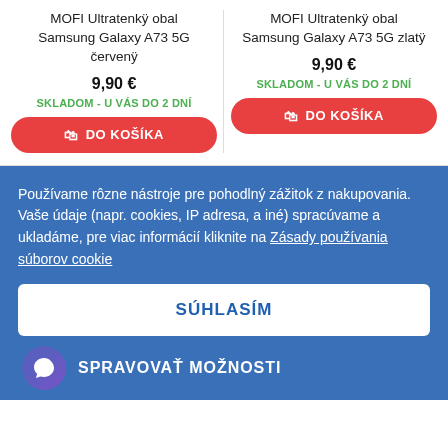MOFI Ultratenkÿ obal Samsung Galaxy A73 5G červenÿ
9,90 €
SKLADOM - U VÁS DO 2 DNÍ
DO KOŠÍKA
MOFI Ultratenkÿ obal Samsung Galaxy A73 5G zlatÿ
9,90 €
SKLADOM - U VÁS DO 2 DNÍ
DO KOŠÍKA
Používame rôzne nástroje pre pohodlný zážitok z nakupovania. Vaše údaje (napr. cookies, IP adresa, a iné) spracúvame a ukladáme, pre viac informácií kliknite na Zásady používania súborov cookie
SÚHLASÍM
SPRAVOVAŤ MOŽNOSTI